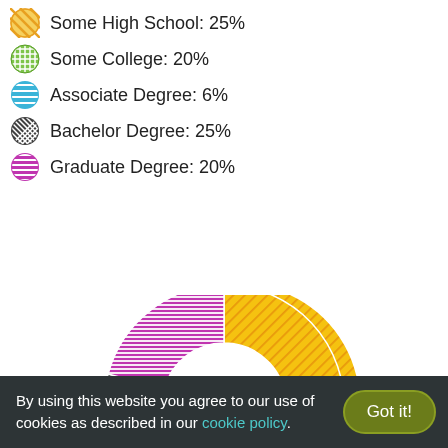[Figure (donut-chart): Education Level]
By using this website you agree to our use of cookies as described in our cookie policy.